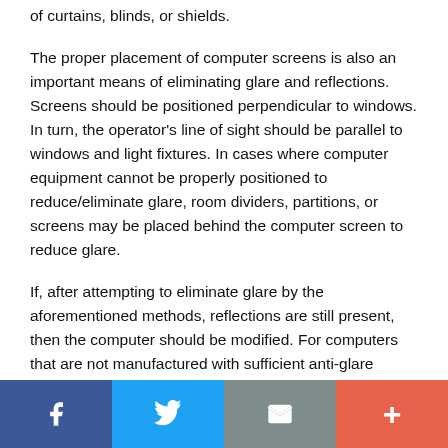of curtains, blinds, or shields.
The proper placement of computer screens is also an important means of eliminating glare and reflections. Screens should be positioned perpendicular to windows. In turn, the operator's line of sight should be parallel to windows and light fixtures. In cases where computer equipment cannot be properly positioned to reduce/eliminate glare, room dividers, partitions, or screens may be placed behind the computer screen to reduce glare.
If, after attempting to eliminate glare by the aforementioned methods, reflections are still present, then the computer should be modified. For computers that are not manufactured with sufficient anti-glare treatment, the use of filters is recommended.
Social share bar: Facebook, Twitter, Email, Plus